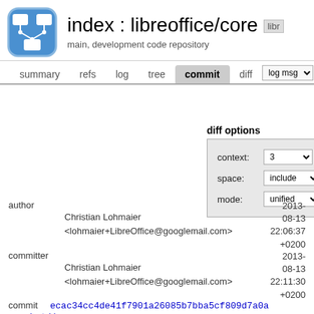index : libreoffice/core
main, development code repository
summary  refs  log  tree  commit  diff  log msg
diff options
| field | value |
| --- | --- |
| context: | 3 |
| space: | include |
| mode: | unified |
author
Christian Lohmaier <lohmaier+LibreOffice@googlemail.com>
2013-08-13 22:06:37 +0200
committer
Christian Lohmaier <lohmaier+LibreOffice@googlemail.com>
2013-08-13 22:11:30 +0200
commit  ecac34cc4de41f7901a26085b7bba5cf809d7a0a
(patch)